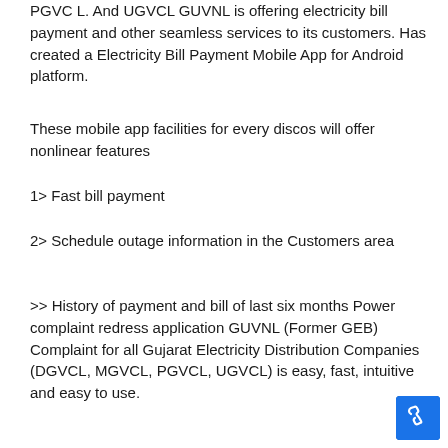PGVC L. And UGVCL GUVNL is offering electricity bill payment and other seamless services to its customers. Has created a Electricity Bill Payment Mobile App for Android platform.
These mobile app facilities for every discos will offer nonlinear features
1> Fast bill payment
2> Schedule outage information in the Customers area
>> History of payment and bill of last six months Power complaint redress application GUVNL (Former GEB) Complaint for all Gujarat Electricity Distribution Companies (DGVCL, MGVCL, PGVCL, UGVCL) is easy, fast, intuitive and easy to use.